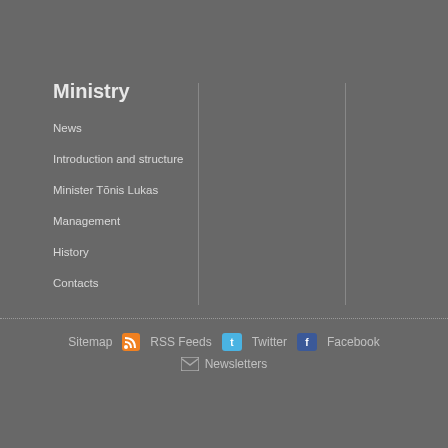Ministry
News
Introduction and structure
Minister Tõnis Lukas
Management
History
Contacts
Sitemap   RSS Feeds   Twitter   Facebook   Newsletters